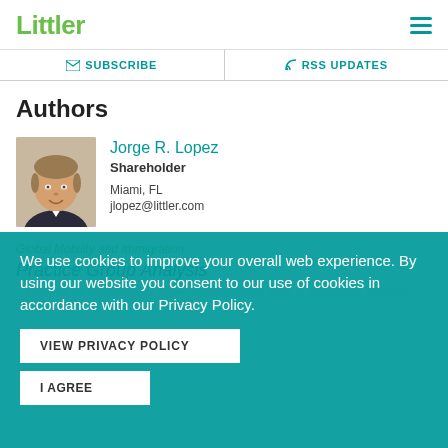Littler
| SUBSCRIBE | RSS UPDATES |
| --- | --- |
Authors
[Figure (photo): Headshot photo of Jorge R. Lopez]
Jorge R. Lopez
Shareholder
Miami, FL
jlopez@littler.com
We use cookies to improve your overall web experience. By using our website you consent to our use of cookies in accordance with our Privacy Policy.
VIEW PRIVACY POLICY
I AGREE